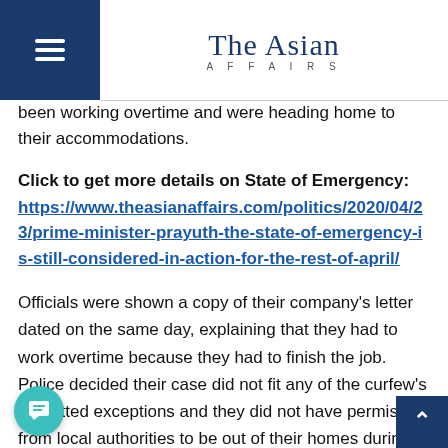The Asian Affairs
been working overtime and were heading home to their accommodations.
Click to get more details on State of Emergency: https://www.theasianaffairs.com/politics/2020/04/23/prime-minister-prayuth-the-state-of-emergency-is-still-considered-in-action-for-the-rest-of-april/
Officials were shown a copy of their company's letter dated on the same day, explaining that they had to work overtime because they had to finish the job. Police decided their case did not fit any of the curfew's permitted exceptions and they did not have permission from local authorities to be out of their homes during the curfew.